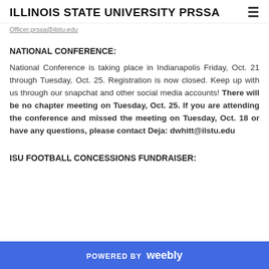ILLINOIS STATE UNIVERSITY PRSSA
Officer.prssa@ilstu.edu
NATIONAL CONFERENCE:
National Conference is taking place in Indianapolis Friday, Oct. 21 through Tuesday, Oct. 25. Registration is now closed. Keep up with us through our snapchat and other social media accounts! There will be no chapter meeting on Tuesday, Oct. 25. If you are attending the conference and missed the meeting on Tuesday, Oct. 18 or have any questions, please contact Deja: dwhitt@ilstu.edu
ISU FOOTBALL CONCESSIONS FUNDRAISER:
POWERED BY weebly